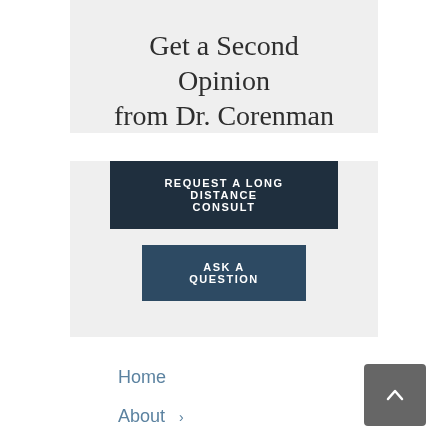Get a Second Opinion from Dr. Corenman
REQUEST A LONG DISTANCE CONSULT
ASK A QUESTION
Home
About
Neck
Mid-Back
Lower Back